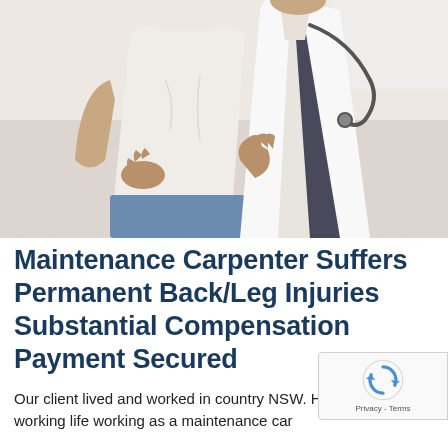[Figure (photo): A doctor in a white coat with a stethoscope examining a patient's lower back. The patient, wearing a white t-shirt, is shown from behind with hands on their hips/lower back. The doctor's hands are placed on the patient's back area. Medical office setting in the background.]
Maintenance Carpenter Suffers Permanent Back/Leg Injuries Substantial Compensation Payment Secured
Our client lived and worked in country NSW. He had his entire working life working as a maintenance car for a i... Ou a t b t S l d